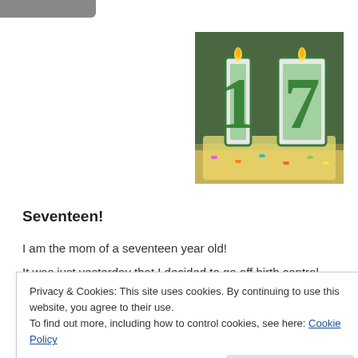[Figure (photo): Birthday cake candles shaped as the number 17, green and yellow, on a cake with colorful decorations]
Seventeen!
I am the mom of a seventeen year old!
It was just yesterday that I decided to go off birth control.
It was just yesterday that I got pregnant.
It was just yesterday that I was admitted for induction.
Privacy & Cookies: This site uses cookies. By continuing to use this website, you agree to their use.
To find out more, including how to control cookies, see here: Cookie Policy
Close and accept
And then high school.